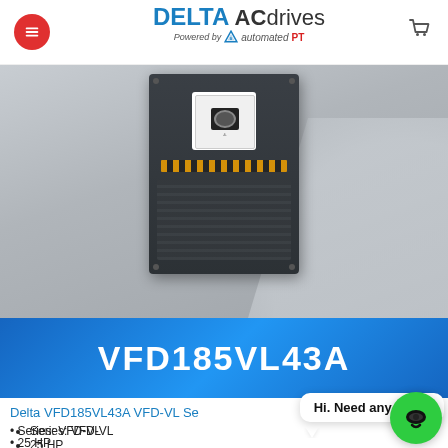[Figure (logo): Delta AC Drives logo — DELTA in bold blue, ACdrives in gray, Powered by automated PT with triangle logo]
[Figure (photo): Delta VFD185VL43A variable frequency drive device photo, dark gray unit on geometric gray background]
VFD185VL43A
Delta VFD185VL43A VFD-VL Se
Series: VFD-VL
25 HP
18.75 KW
230 V
75 A